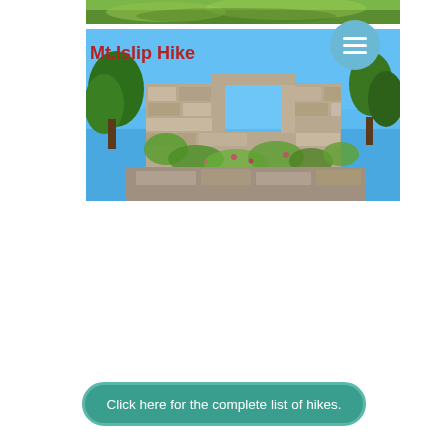[Figure (photo): Green grassy hillside strip at the top of the page]
Mt.Islip Hike
[Figure (photo): Photograph of ancient stone ruins with a rectangular window opening, covered in green vines and foliage, set against a bright blue sky with trees in the background. A circular hamburger menu button is overlaid in the top-right corner.]
Click here for the complete list of hikes.